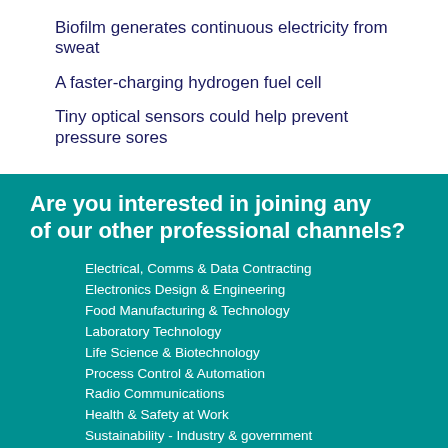Biofilm generates continuous electricity from sweat
A faster-charging hydrogen fuel cell
Tiny optical sensors could help prevent pressure sores
Are you interested in joining any of our other professional channels?
Electrical, Comms & Data Contracting
Electronics Design & Engineering
Food Manufacturing & Technology
Laboratory Technology
Life Science & Biotechnology
Process Control & Automation
Radio Communications
Health & Safety at Work
Sustainability - Industry & government
IT Management
Hospital + Healthcare
GovTech Review
Aged Health